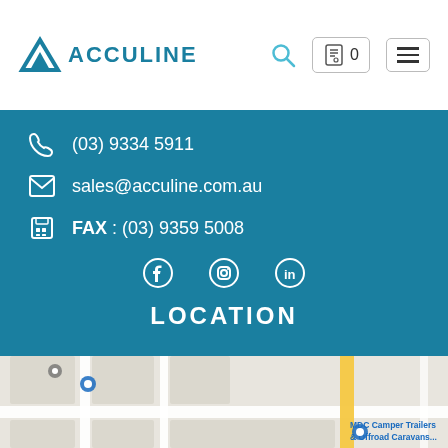ACCULINE
(03) 9334 5911
sales@acculine.com.au
FAX : (03) 9359 5008
[Figure (other): Social media icons: Facebook, Instagram, LinkedIn]
LOCATION
[Figure (map): Google Maps embed showing location near Fabio Ct, with MDC Camper Trailers & Offroad Caravans and Allied Express visible as nearby landmarks]